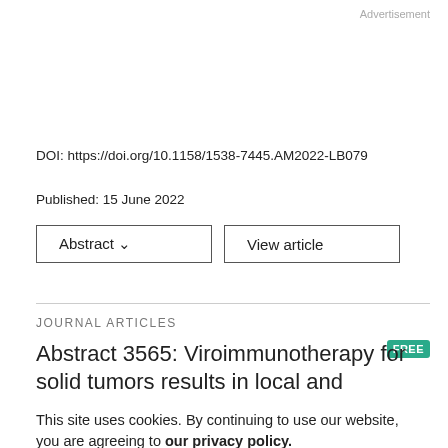Advertisement
DOI: https://doi.org/10.1158/1538-7445.AM2022-LB079
Published: 15 June 2022
Abstract ∨   View article
JOURNAL ARTICLES
Abstract 3565: Viroimmunotherapy for solid tumors results in local and abscopal anti-cancer effects and the remodeling of tumor microenvironment
This site uses cookies. By continuing to use our website, you are agreeing to our privacy policy.
Accept